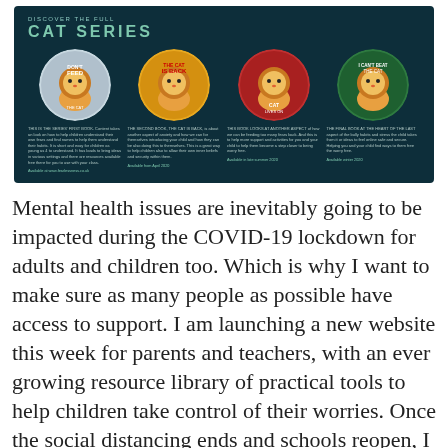[Figure (illustration): Dark teal banner showing 'DISCOVER THE FULL CAT SERIES' with four circular book covers: Don't Feed the Cat, The Cat is Back, Cat Lives On, I Can't Beat the Cat. Each has a brief description and availability date below.]
Mental health issues are inevitably going to be impacted during the COVID-19 lockdown for adults and children too. Which is why I want to make sure as many people as possible have access to support. I am launching a new website this week for parents and teachers, with an ever growing resource library of practical tools to help children take control of their worries. Once the social distancing ends and schools reopen, I will be again working with schools across the country